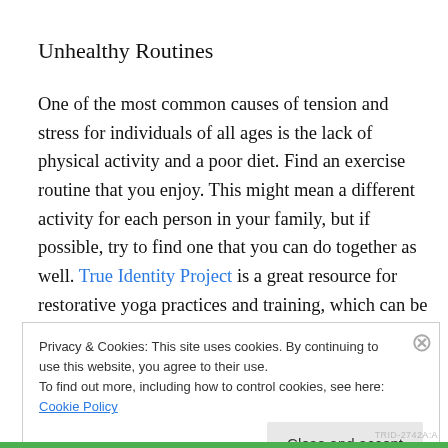Unhealthy Routines
One of the most common causes of tension and stress for individuals of all ages is the lack of physical activity and a poor diet. Find an exercise routine that you enjoy. This might mean a different activity for each person in your family, but if possible, try to find one that you can do together as well. True Identity Project is a great resource for restorative yoga practices and training, which can be a
Privacy & Cookies: This site uses cookies. By continuing to use this website, you agree to their use.
To find out more, including how to control cookies, see here: Cookie Policy
Close and accept